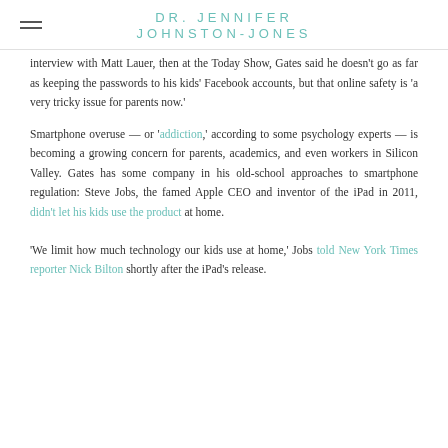DR. JENNIFER JOHNSTON-JONES
interview with Matt Lauer, then at the Today Show, Gates said he doesn't go as far as keeping the passwords to his kids' Facebook accounts, but that online safety is 'a very tricky issue for parents now.'
Smartphone overuse — or 'addiction,' according to some psychology experts — is becoming a growing concern for parents, academics, and even workers in Silicon Valley. Gates has some company in his old-school approaches to smartphone regulation: Steve Jobs, the famed Apple CEO and inventor of the iPad in 2011, didn't let his kids use the product at home.
'We limit how much technology our kids use at home,' Jobs told New York Times reporter Nick Bilton shortly after the iPad's release.